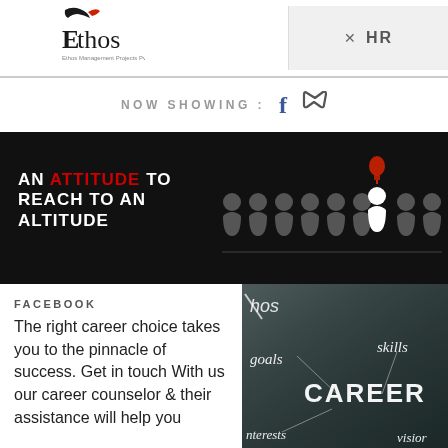[Figure (logo): Ethos logo with stylized figure and text 'Ethos']
✕  HR
NOW SHOWING :
[Figure (infographic): Dark banner with text 'AN ATTITUDE TO REACH TO AN ALTITUDE' and row of human figures, one white figure with red lightbulb above]
FACEBOOK
The right career choice takes you to the pinnacle of success. Get in touch With us our career counselor & their assistance will help you
[Figure (photo): Career concept image with words: goals, skills, CAREER, interests, vision, hos (Ethos)]